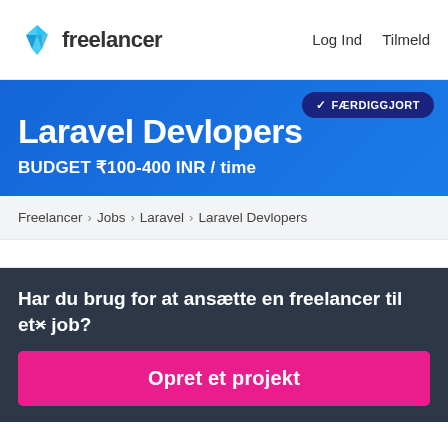freelancer  Log Ind  Tilmeld
Laravel Devlopers
BUDGET ₹100-400 INR / time
FÆRDIGGJORT
Freelancer › Jobs › Laravel › Laravel Devlopers
Har du brug for at ansætte en freelancer til et job?
Opret et projekt